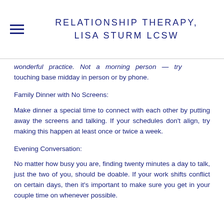RELATIONSHIP THERAPY, LISA STURM LCSW
wonderful practice. Not a morning person — try touching base midday in person or by phone.
Family Dinner with No Screens:
Make dinner a special time to connect with each other by putting away the screens and talking. If your schedules don't align, try making this happen at least once or twice a week.
Evening Conversation:
No matter how busy you are, finding twenty minutes a day to talk, just the two of you, should be doable. If your work shifts conflict on certain days, then it's important to make sure you get in your couple time on whenever possible.